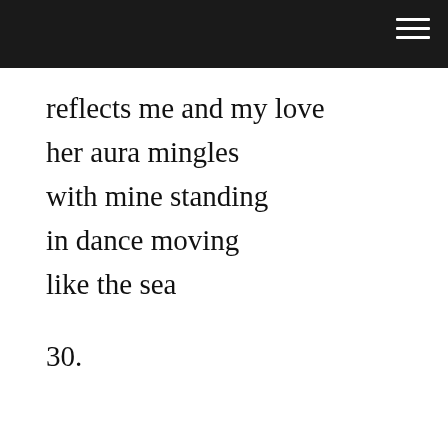reflects me and my love
her aura mingles
with mine standing
in dance moving
like the sea
30.
We use cookies on our website to give you the most relevant experience by remembering your preferences and repeat visits. By clicking “Accept”, you consent to the use of ALL the cookies. Do not sell my personal information.
Cookie Settings   Accept